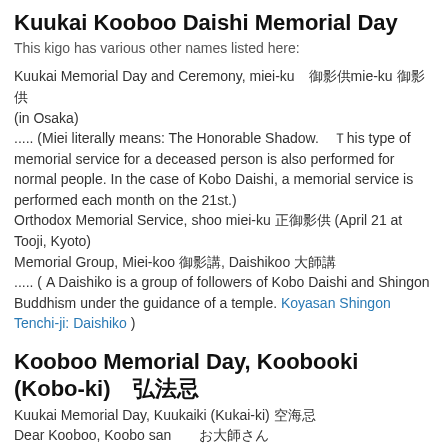Kuukai Kooboo Daishi Memorial Day
This kigo has various other names listed here:
Kuukai Memorial Day and Ceremony, miei-ku　御影供mie-ku 御影供 (in Osaka)
..... (Miei literally means: The Honorable Shadow.　Ｔhis type of memorial service for a deceased person is also performed for normal people. In the case of Kobo Daishi, a memorial service is performed each month on the 21st.)
Orthodox Memorial Service, shoo miei-ku 正御影供 (April 21 at Tooji, Kyoto)
Memorial Group, Miei-koo 御影講, Daishikoo 大師講
..... ( A Daishiko is a group of followers of Kobo Daishi and Shingon Buddhism under the guidance of a temple. Koyasan Shingon Tenchi-ji: Daishiko )
Kooboo Memorial Day, Koobooki (Kobo-ki)　弘法忌
Kuukai Memorial Day, Kuukaiki (Kukai-ki) 空海忌
Dear Kooboo, Koobo san　　お大師さん
　　(Called like this by the people of Kyoto.)